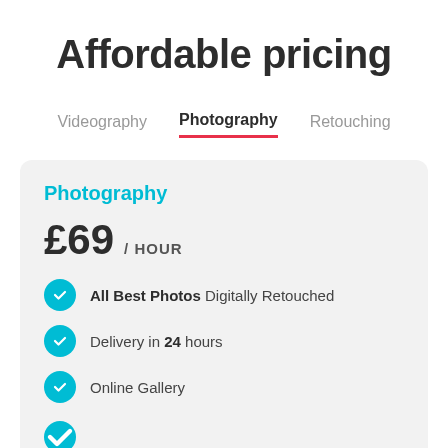Affordable pricing
Videography  Photography  Retouching
Photography
£69 / HOUR
All Best Photos Digitally Retouched
Delivery in 24 hours
Online Gallery